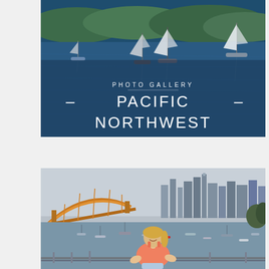[Figure (photo): Harbor scene with sailboats on calm blue water, forested hills in background. Overlay text reads 'PHOTO GALLERY' and '– PACIFIC NORTHWEST –' in white lettering.]
[Figure (photo): Woman in pink/coral tank top smiling at the camera, standing in front of a harbor with sailboats, a large arch bridge on the left, and a city skyline with tall buildings in the background on an overcast day.]